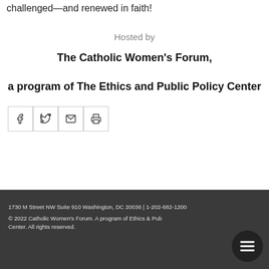challenged—and renewed in faith!
Hosted by
The Catholic Women's Forum, a program of The Ethics and Public Policy Center
[Figure (other): Social sharing icons: Facebook, Twitter, Email, Print]
1730 M Street NW Suite 910 Washington, DC 20036 | 1-202-682-1200
© 2022 Catholic Women's Forum. A program of Ethics & Public Policy Center. All rights reserved.